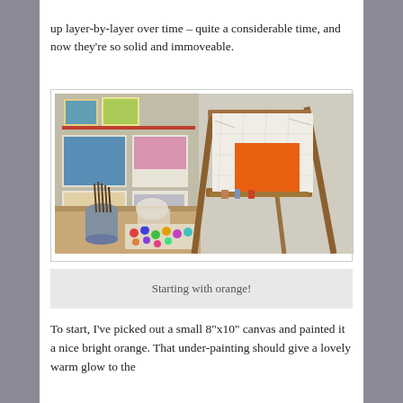up layer-by-layer over time – quite a considerable time, and now they're so solid and immoveable.
[Figure (photo): An artist's studio with an easel holding a white canvas with a bright orange rectangle painted on it. Art supplies including paintbrushes in a jar, paints, and a palette of colorful pastels/paints on a wooden table. Various paintings and artworks pinned to the wall in the background.]
Starting with orange!
To start, I've picked out a small 8"x10" canvas and painted it a nice bright orange. That under-painting should give a lovely warm glow to the